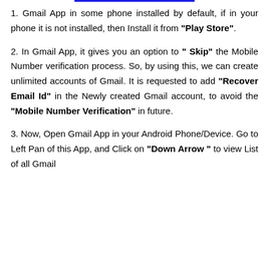1. Gmail App in some phone installed by default, if in your phone it is not installed, then Install it from "Play Store".
2. In Gmail App, it gives you an option to " Skip" the Mobile Number verification process. So, by using this, we can create unlimited accounts of Gmail. It is requested to add "Recover Email Id" in the Newly created Gmail account, to avoid the "Mobile Number Verification" in future.
3. Now, Open Gmail App in your Android Phone/Device. Go to Left Pan of this App, and Click on "Down Arrow " to view List of all Gmail